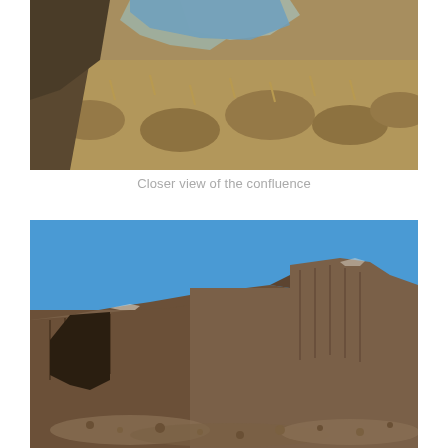[Figure (photo): Aerial/close-up view of a river confluence showing dry grass hillside with brown rocky outcrops and a blue river visible in the upper portion of the image.]
Closer view of the confluence
[Figure (photo): Ground-level view of a large basalt cliff/rocky escarpment with columnar jointing under a clear blue sky, with rocky debris at the base.]